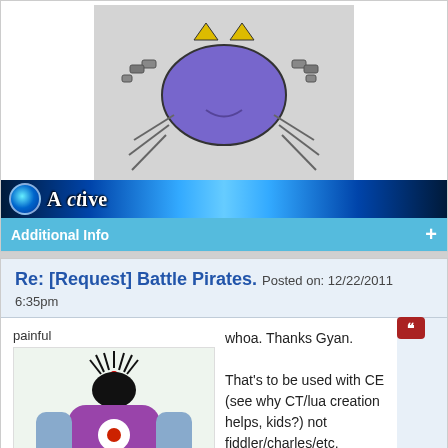[Figure (illustration): Cartoon spider-like creature with purple body, robotic arms, and yellow triangles on head, on gray background]
[Figure (screenshot): Blue glowing 'Active' banner with circular orb icon]
Additional Info +
Re: [Request] Battle Pirates. Posted on: 12/22/2011 6:35pm
painful
[Figure (illustration): Cartoon purple monster character with one eye and blue arms on light green background]
whoa. Thanks Gyan.

That's to be used with CE (see why CT/lua creation helps, kids?) not fiddler/charles/etc.